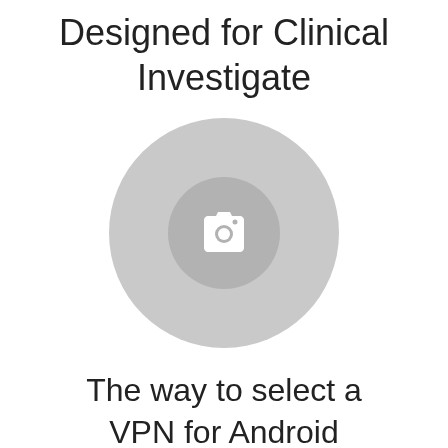Designed for Clinical Investigate
[Figure (photo): Circular placeholder image with camera icon in center]
The way to select a VPN for Android
[Figure (photo): Partial circle visible at bottom of page]